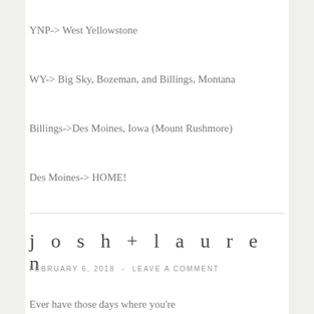YNP-> West Yellowstone
WY-> Big Sky, Bozeman, and Billings, Montana
Billings->Des Moines, Iowa (Mount Rushmore)
Des Moines-> HOME!
josh+lauren
FEBRUARY 6, 2018  -  LEAVE A COMMENT
Ever have those days where you're